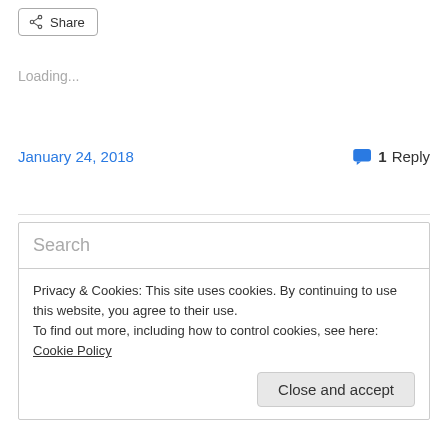[Figure (other): Share button with share icon]
Loading...
January 24, 2018
1 Reply
Search
Privacy & Cookies: This site uses cookies. By continuing to use this website, you agree to their use.
To find out more, including how to control cookies, see here: Cookie Policy
Close and accept